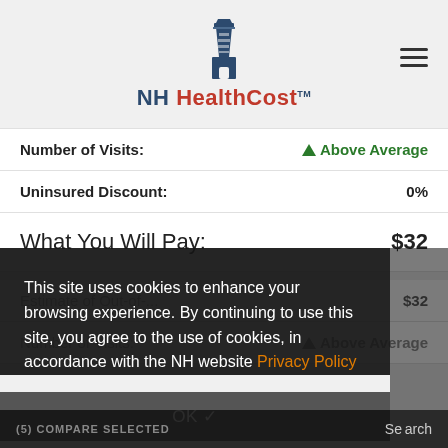[Figure (logo): NH HealthCost lighthouse logo with text]
| Label | Value |
| --- | --- |
| Number of Visits: | ▲ Above Average |
| Uninsured Discount: | 0% |
| What You Will Pay: | $32 |
This site uses cookies to enhance your browsing experience. By continuing to use this site, you agree to the use of cookies, in accordance with the NH website Privacy Policy
OK ✓
Estimate of Out-of-...: $32
Number of Visits: ▲ Above Average
(5) COMPARE SELECTED
Search